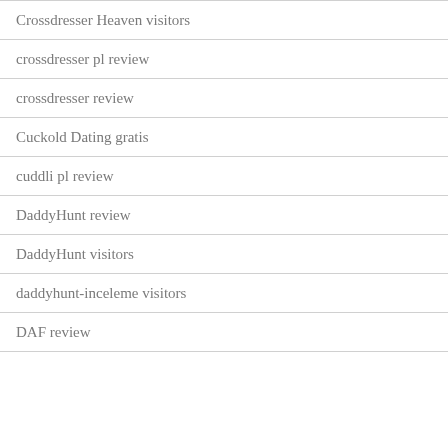Crossdresser Heaven visitors
crossdresser pl review
crossdresser review
Cuckold Dating gratis
cuddli pl review
DaddyHunt review
DaddyHunt visitors
daddyhunt-inceleme visitors
DAF review